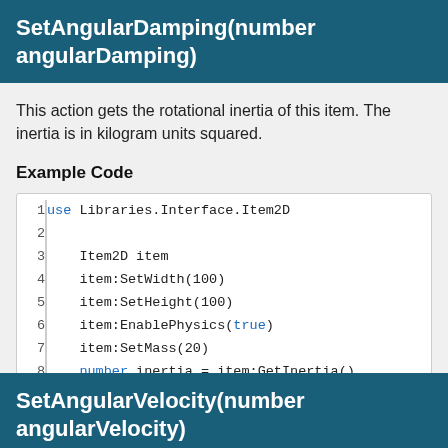SetAngularDamping(number angularDamping)
This action gets the rotational inertia of this item. The inertia is in kilogram units squared.
Example Code
[Figure (screenshot): Code block showing 8 lines of Quorum code using Libraries.Interface.Item2D, creating an Item2D item, setting width/height to 100, enabling physics with true, setting mass to 20, and getting inertia.]
Parameters
SetAngularVelocity(number angularVelocity)